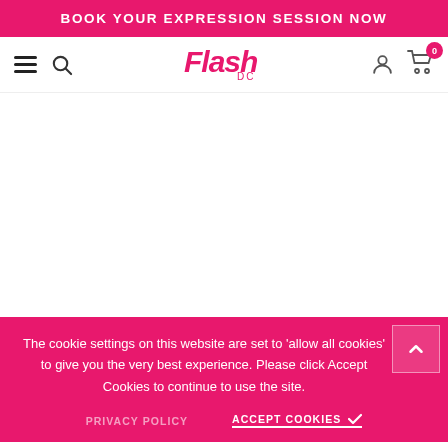BOOK YOUR EXPRESSION SESSION NOW
[Figure (logo): Flash DC logo in pink italic script with 'DC' subtitle]
The cookie settings on this website are set to 'allow all cookies' to give you the very best experience. Please click Accept Cookies to continue to use the site.
PRIVACY POLICY   ACCEPT COOKIES ✓